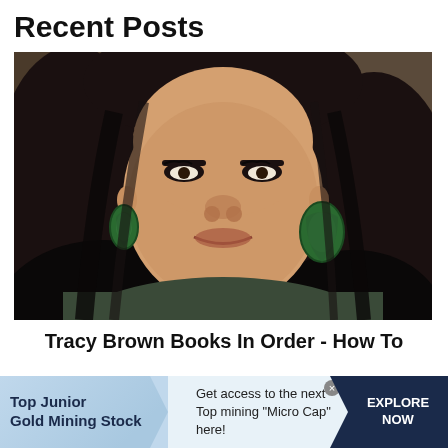Recent Posts
[Figure (photo): Portrait photo of a woman with long black hair, green hoop earrings, wearing a dark outfit, smiling at the camera.]
Tracy Brown Books In Order - How To
Top Junior Gold Mining Stock  Get access to the next Top mining "Micro Cap" here!  EXPLORE NOW